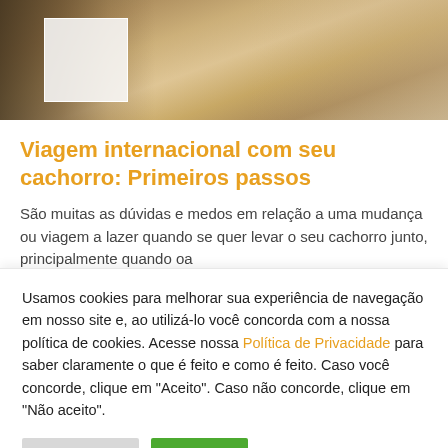[Figure (photo): Photo of a dog outdoors in a snowy/leafy setting, partially obscured by a white overlay box on the left side]
Viagem internacional com seu cachorro: Primeiros passos
São muitas as dúvidas e medos em relação a uma mudança ou viagem a lazer quando se quer levar o seu cachorro junto, principalmente quando oa
Usamos cookies para melhorar sua experiência de navegação em nosso site e, ao utilizá-lo você concorda com a nossa política de cookies. Acesse nossa Política de Privacidade para saber claramente o que é feito e como é feito. Caso você concorde, clique em "Aceito". Caso não concorde, clique em "Não aceito".